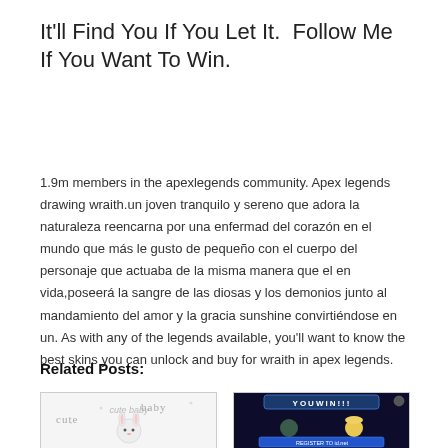It'll Find You If You Let It.  Follow Me If You Want To Win.
1.9m members in the apexlegends community. Apex legends drawing wraith.un joven tranquilo y sereno que adora la naturaleza reencarna por una enfermad del corazón en el mundo que más le gusto de pequeño con el cuerpo del personaje que actuaba de la misma manera que el en vida,poseerá la sangre de las diosas y los demonios junto al mandamiento del amor y la gracia sunshine convirtiéndose en un. As with any of the legends available, you'll want to know the best skins you can unlock and buy for wraith in apex legends.
Related Posts:
[Figure (illustration): Cute baby illustration with cartoon character on light background]
[Figure (screenshot): You Win screen with two characters and Register to id.net button on dark background]